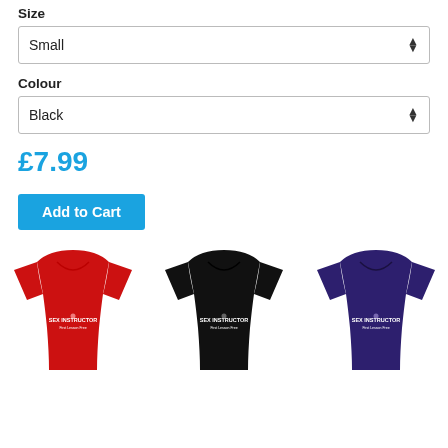Size
Small
Colour
Black
£7.99
Add to Cart
[Figure (photo): Three women's t-shirts shown in red, black, and purple, each with 'SEX INSTRUCTOR First Lesson Free' text printed on the front.]